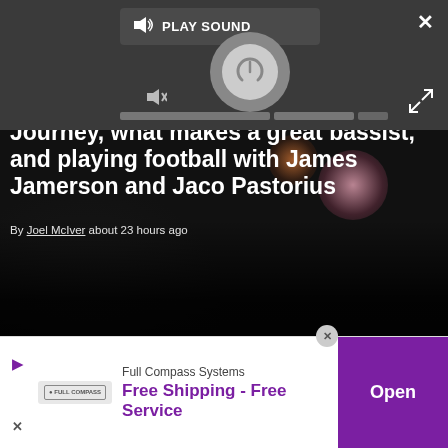[Figure (screenshot): Dark overlay with play sound popup, volume dial, mute icon, progress bars, close X button, and expand icon — video/audio player UI overlay]
[Figure (photo): Concert photo of Randy Jackson performing, with bokeh stage lights in background]
Randy Jackson on his return to Journey, what makes a great bassist, and playing football with James Jamerson and Jaco Pastorius
By Joel McIver about 23 hours ago
[Figure (photo): Partial second article image showing dark hair figure against green background]
Full Compass Systems
Free Shipping - Free Service
Open